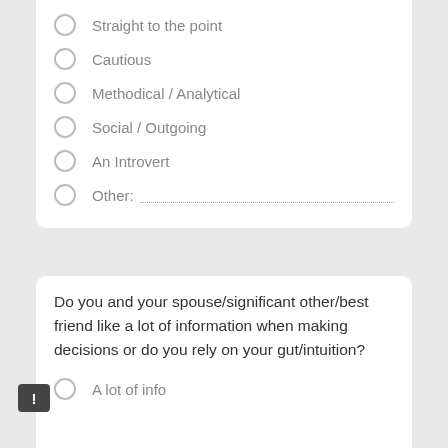Straight to the point
Cautious
Methodical / Analytical
Social / Outgoing
An Introvert
Other:
Do you and your spouse/significant other/best friend like a lot of information when making decisions or do you rely on your gut/intuition?
A lot of info